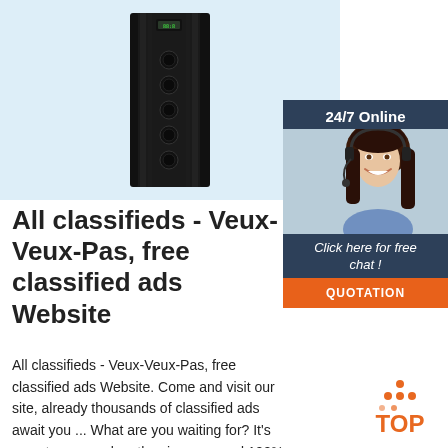[Figure (photo): Black tower speaker/device against a light blue background]
[Figure (infographic): 24/7 Online chat widget with a customer service representative, 'Click here for free chat!' and QUOTATION button, dark navy background with orange button]
All classifieds - Veux-Veux-Pas, free classified ads Website
All classifieds - Veux-Veux-Pas, free classified ads Website. Come and visit our site, already thousands of classified ads await you ... What are you waiting for? It's easy to use, no lengthy sign-ups, and 100% free! If you have many products or ads, create your own online store (e-commerce shop) and conveniently group all your classified ads in your shop! Webmasters, you
[Figure (logo): TOP logo with orange dot pattern above orange text]